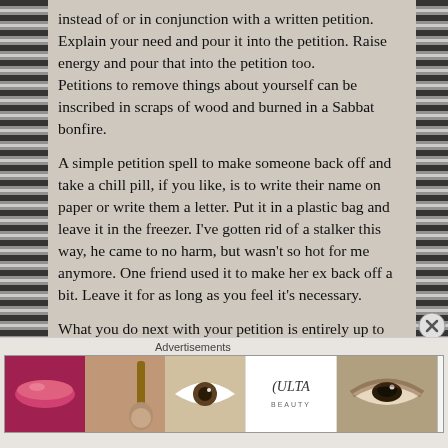instead of or in conjunction with a written petition. Explain your need and pour it into the petition. Raise energy and pour that into the petition too.
Petitions to remove things about yourself can be inscribed in scraps of wood and burned in a Sabbat bonfire.
A simple petition spell to make someone back off and take a chill pill, if you like, is to write their name on paper or write them a letter. Put it in a plastic bag and leave it in the freezer. I've gotten rid of a stalker this way, he came to no harm, but wasn't so hot for me anymore. One friend used it to make her ex back off a bit. Leave it for as long as you feel it's necessary.
What you do next with your petition is entirely up to you. Petitions have been a practice in use for centuries...
Advertisements
[Figure (photo): Advertisement banner for ULTA beauty featuring makeup imagery — lips, brush, eye, ULTA logo, eye with eyeshadow, and SHOP NOW button]